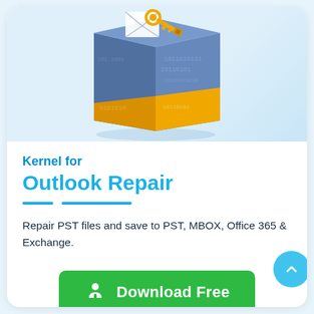[Figure (illustration): Software product box for Kernel for Outlook Repair — a blue and yellow/gold 3D box with a USB key and envelope icon, overlaid with binary numbers 1010101 pattern]
Kernel for Outlook Repair
Repair PST files and save to PST, MBOX, Office 365 & Exchange.
[Figure (other): Download Free button — green rounded rectangle with download icon and white text]